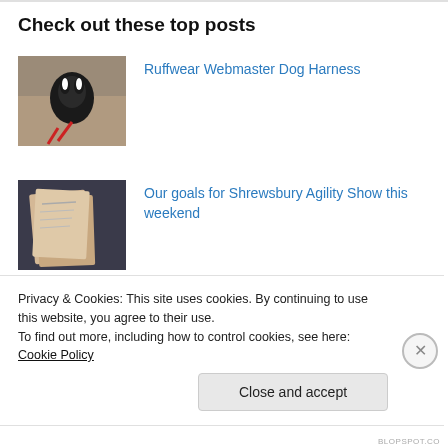Check out these top posts
Ruffwear Webmaster Dog Harness
Our goals for Shrewsbury Agility Show this weekend
Hands free running/walking belt from CanaDog
Privacy & Cookies: This site uses cookies. By continuing to use this website, you agree to their use.
To find out more, including how to control cookies, see here: Cookie Policy
Close and accept